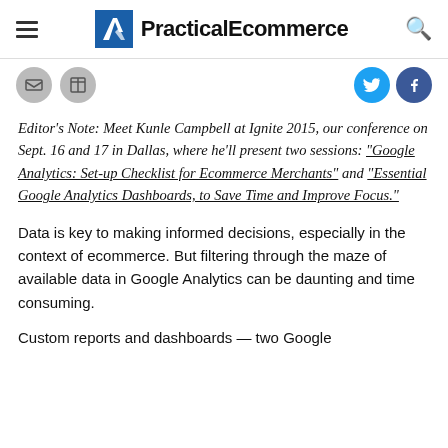PracticalEcommerce
Editor's Note: Meet Kunle Campbell at Ignite 2015, our conference on Sept. 16 and 17 in Dallas, where he'll present two sessions: "Google Analytics: Set-up Checklist for Ecommerce Merchants" and "Essential Google Analytics Dashboards, to Save Time and Improve Focus."
Data is key to making informed decisions, especially in the context of ecommerce. But filtering through the maze of available data in Google Analytics can be daunting and time consuming.
Custom reports and dashboards — two Google